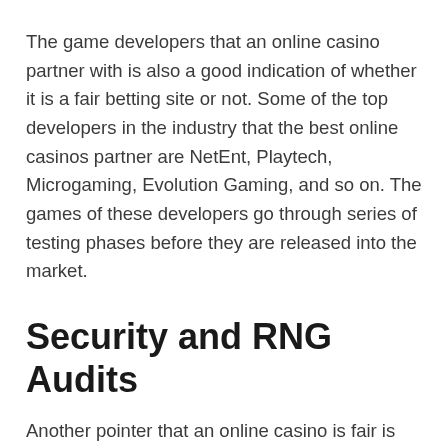The game developers that an online casino partner with is also a good indication of whether it is a fair betting site or not. Some of the top developers in the industry that the best online casinos partner are NetEnt, Playtech, Microgaming, Evolution Gaming, and so on. The games of these developers go through series of testing phases before they are released into the market.
Security and RNG Audits
Another pointer that an online casino is fair is